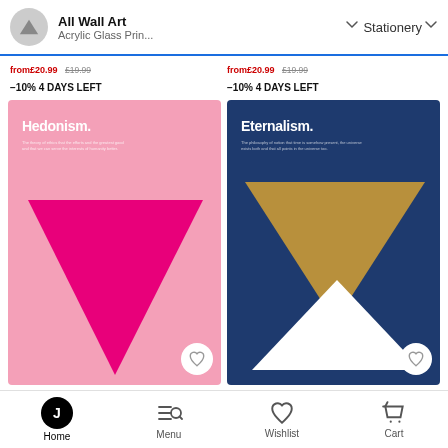All Wall Art / Acrylic Glass Prin... / Stationery
from£20.99 £19.99 -10% 4 DAYS LEFT (x2)
[Figure (illustration): Pink art print with white 'Hedonism.' title and downward-pointing hot pink triangle on light pink background]
[Figure (illustration): Dark navy blue art print with white 'Eternalism.' title, a downward-pointing tan/gold triangle and an upward-pointing white triangle below it]
Hedonism...
Eternalism...
Home  Menu  Wishlist  Cart